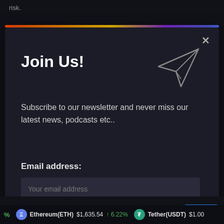risk.
Join Us!
Subscribe to our newsletter and never miss our latest news, podcasts etc..
Email address:
Your email address
Sign up
Zero spam. Unsubscribe at any time.
By using this site, you agree to the Privacy Policy and Terms of Use.
Ethereum(ETH) $1,635.54 ↑ 6.22%   Tether(USDT) $1.00